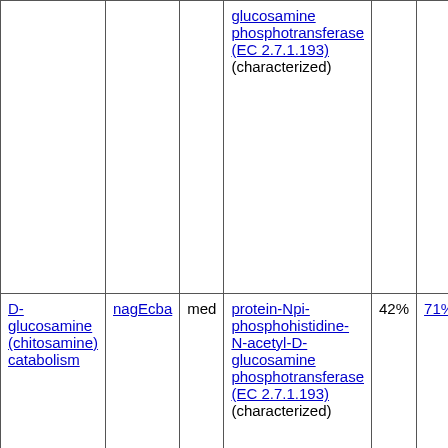| Pathway | Gene | Confidence | Best Hit | Ident% | Cov% | Score |
| --- | --- | --- | --- | --- | --- | --- |
|  |  |  | glucosamine phosphotransferase (EC 2.7.1.193) (characterized) |  |  |  |
| D-glucosamine (chitosamine) catabolism | nagEcba | med | protein-Npi-phosphohistidine-N-acetyl-D-glucosamine phosphotransferase (EC 2.7.1.193) (characterized) | 42% | 71% | 34 |
| D-cellobiose catabolism | ptsG | lo | protein-Npi-phosphohistidine-D-glucose phosphotransferase (EC 2.7.1.199) (characterized) | 40% | 98% | 33 |